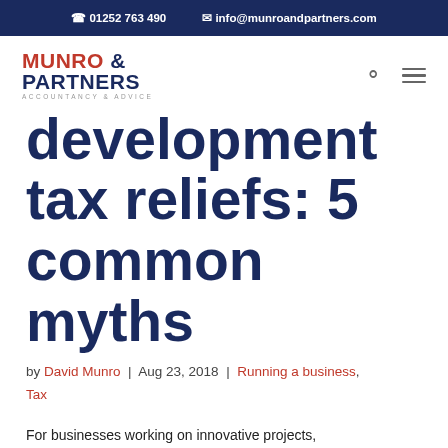01252 763 490  info@munroandpartners.com
[Figure (logo): Munro & Partners Accountancy & Advice logo]
development tax reliefs: 5 common myths
by David Munro | Aug 23, 2018 | Running a business, Tax
For businesses working on innovative projects,